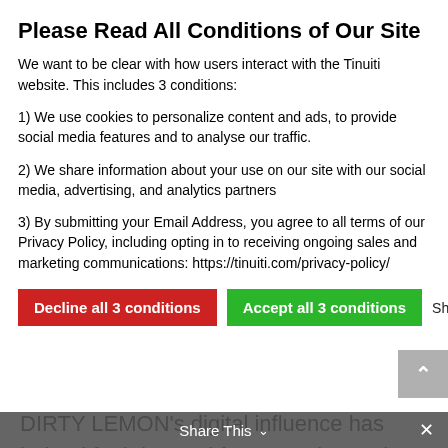Please Read All Conditions of Our Site
We want to be clear with how users interact with the Tinuiti website. This includes 3 conditions:
1) We use cookies to personalize content and ads, to provide social media features and to analyse our traffic.
2) We share information about your use on our site with our social media, advertising, and analytics partners
3) By submitting your Email Address, you agree to all terms of our Privacy Policy, including opting in to receiving ongoing sales and marketing communications: https://tinuiti.com/privacy-policy/
Decline all 3 conditions | Accept all 3 conditions | Show details
DIRTY LEMON's digital influence has helped fuel demand for a growing variety of blends, boosters, and tonics — which promise to promote everything from anti-aging to energy and your immune system.